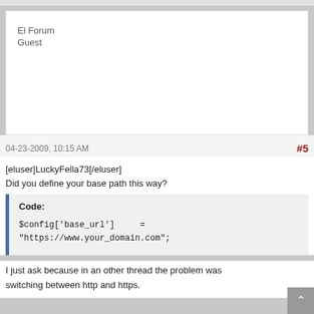El Forum
Guest
04-23-2009, 10:15 AM   #5
[eluser]LuckyFella73[/eluser]
Did you define your base path this way?
Code:
$config['base_url']     =
"https://www.your_domain.com";
I just ask because in an other thread the problem was switching between http and https.